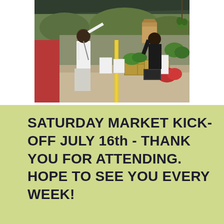[Figure (photo): Outdoor farmers market scene under a dark tarp/canopy. A woman in white shirt and grey pants reaches up to grab a brown paper bag from a vendor in a black shirt. Wooden crates and produce are displayed on tables. Green plants and trees visible in background. Red pathway on left side.]
SATURDAY MARKET KICK-OFF JULY 16th - THANK YOU FOR ATTENDING. HOPE TO SEE YOU EVERY WEEK!